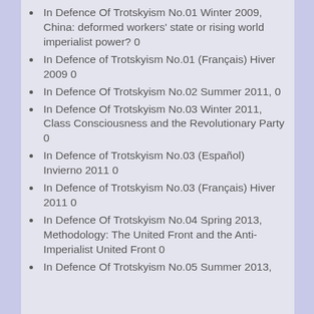In Defence Of Trotskyism No.01 Winter 2009, China: deformed workers' state or rising world imperialist power? 0
In Defence of Trotskyism No.01 (Français) Hiver 2009 0
In Defence Of Trotskyism No.02 Summer 2011, 0
In Defence Of Trotskyism No.03 Winter 2011, Class Consciousness and the Revolutionary Party 0
In Defence of Trotskyism No.03 (Español) Invierno 2011 0
In Defence of Trotskyism No.03 (Français) Hiver 2011 0
In Defence Of Trotskyism No.04 Spring 2013, Methodology: The United Front and the Anti-Imperialist United Front 0
In Defence Of Trotskyism No.05 Summer 2013,